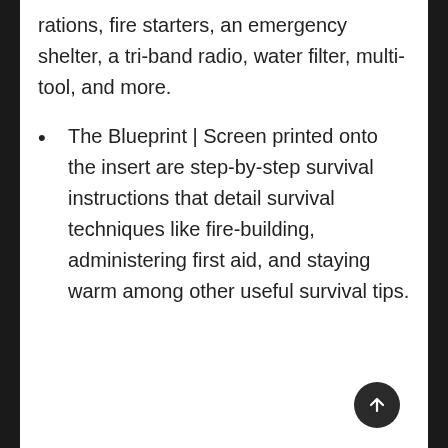rations, fire starters, an emergency shelter, a tri-band radio, water filter, multi-tool, and more.
The Blueprint | Screen printed onto the insert are step-by-step survival instructions that detail survival techniques like fire-building, administering first aid, and staying warm among other useful survival tips.